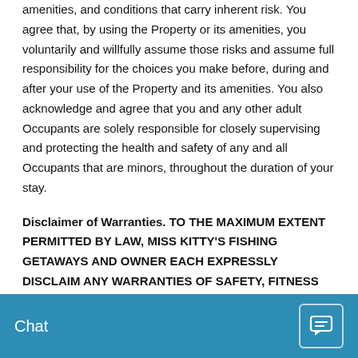amenities, and conditions that carry inherent risk. You agree that, by using the Property or its amenities, you voluntarily and willfully assume those risks and assume full responsibility for the choices you make before, during and after your use of the Property and its amenities. You also acknowledge and agree that you and any other adult Occupants are solely responsible for closely supervising and protecting the health and safety of any and all Occupants that are minors, throughout the duration of your stay.
Disclaimer of Warranties. TO THE MAXIMUM EXTENT PERMITTED BY LAW, MISS KITTY'S FISHING GETAWAYS AND OWNER EACH EXPRESSLY DISCLAIM ANY WARRANTIES OF SAFETY, FITNESS FOR A
[Figure (other): Chat widget bar at the bottom of the screen with teal/blue background, 'Chat' label on the left, and a speech bubble icon button on the right.]